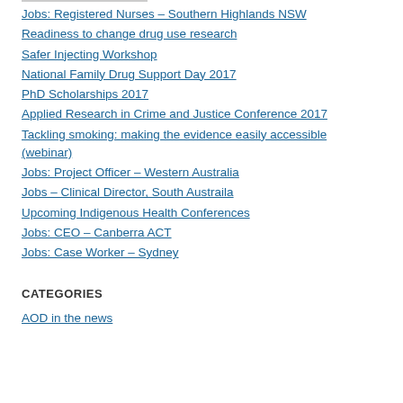Jobs: Registered Nurses – Southern Highlands NSW
Readiness to change drug use research
Safer Injecting Workshop
National Family Drug Support Day 2017
PhD Scholarships 2017
Applied Research in Crime and Justice Conference 2017
Tackling smoking: making the evidence easily accessible (webinar)
Jobs: Project Officer – Western Australia
Jobs – Clinical Director, South Austraila
Upcoming Indigenous Health Conferences
Jobs: CEO – Canberra ACT
Jobs: Case Worker – Sydney
CATEGORIES
AOD in the news